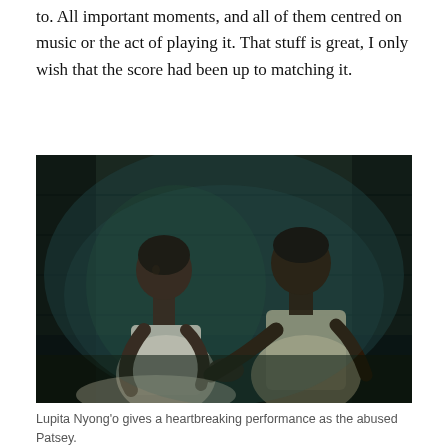to. All important moments, and all of them centred on music or the act of playing it. That stuff is great, I only wish that the score had been up to matching it.
[Figure (photo): A dramatic, teal-toned film still showing two people facing each other closely in a dark interior setting. A young woman in a white sleeveless dress on the left faces a man in a light linen shirt on the right who holds her hands. The scene is from the film 12 Years a Slave.]
Lupita Nyong'o gives a heartbreaking performance as the abused Patsey.